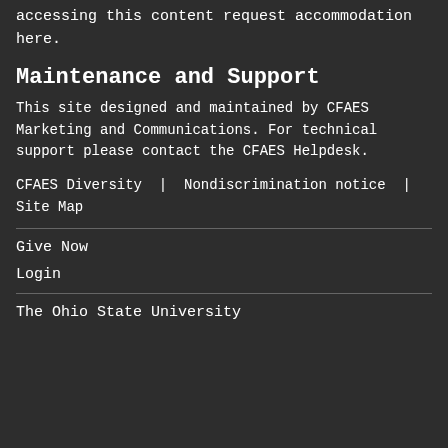accessing this content request accommodation here.
Maintenance and Support
This site designed and maintained by CFAES Marketing and Communications. For technical support please contact the CFAES Helpdesk.
CFAES Diversity | Nondiscrimination notice | Site Map
Give Now
Login
The Ohio State University